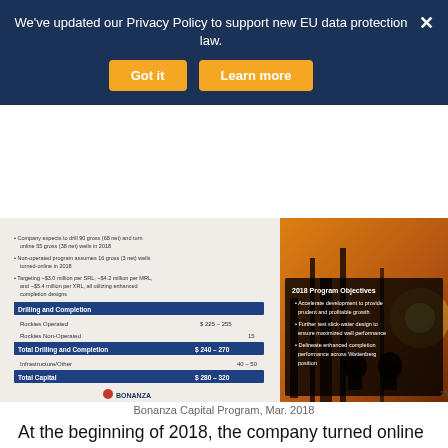We've updated our Privacy Policy to support new EU data protection law.
[Figure (screenshot): Bonanza Creek Capital Program slide from March 2018 showing 2018 Program Objectives and a drilling and completion budget table with silhouetted oil workers image]
Bonanza Capital Program, Mar. 2018
At the beginning of 2018, the company turned online its 8-SRL F26 pad, which utilized an average of approximately 2,000 pounds of proppant per lateral foot and Bonanza also recently turned online its first French Lake well.